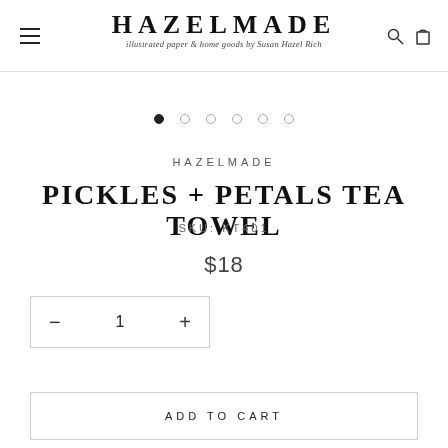HAZELMADE — illustrated paper & home goods by Susan Hazel Rich
[Figure (other): Pagination dots: 6 circles, first filled black, rest outlined]
HAZELMADE
PICKLES + PETALS TEA TOWEL
SKU: KT401
$18
[Figure (other): Quantity selector with minus button, 1, and plus button inside a bordered box]
ADD TO CART